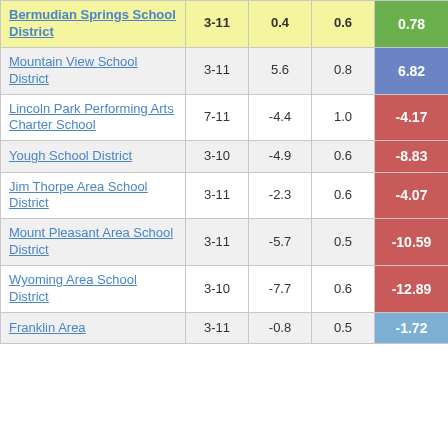| School/District | Grades | Col3 | Col4 | Score |
| --- | --- | --- | --- | --- |
| Bermudian Springs School District | 3-11 | 0.4 | 0.6 | 0.78 |
| Mountain View School District | 3-11 | 5.6 | 0.8 | 6.82 |
| Lincoln Park Performing Arts Charter School | 7-11 | -4.4 | 1.0 | -4.17 |
| Yough School District | 3-10 | -4.9 | 0.6 | -8.83 |
| Jim Thorpe Area School District | 3-11 | -2.3 | 0.6 | -4.07 |
| Mount Pleasant Area School District | 3-11 | -5.7 | 0.5 | -10.59 |
| Wyoming Area School District | 3-10 | -7.7 | 0.6 | -12.89 |
| Franklin Area | 3-11 | -0.8 | 0.5 | -1.72 |